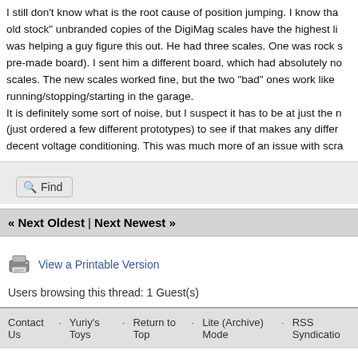I still don't know what is the root cause of position jumping. I know tha... old stock" unbranded copies of the DigiMag scales have the highest li... was helping a guy figure this out. He had three scales. One was rock s... pre-made board). I sent him a different board, which had absolutely no... scales. The new scales worked fine, but the two "bad" ones work like ... running/stopping/starting in the garage.
It is definitely some sort of noise, but I suspect it has to be at just the r... (just ordered a few different prototypes) to see if that makes any differ... decent voltage conditioning. This was much more of an issue with scra...
Find
« Next Oldest | Next Newest »
View a Printable Version
Users browsing this thread: 1 Guest(s)
Contact Us   Yuriy's Toys   Return to Top   Lite (Archive) Mode   RSS Syndicatio...